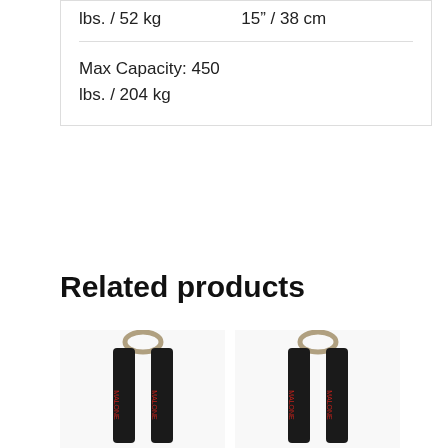| lbs. / 52 kg | 15” / 38 cm |
| Max Capacity: 450 lbs. / 204 kg |  |
Related products
[Figure (other): Orange Sale! badge on the left, two product images of black foam kayak carriers with metal hooks (Malone brand) in the center and right]